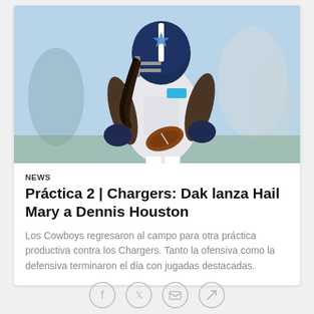[Figure (photo): Dallas Cowboys player in white AT&T jersey and blue helmet running with football during practice against the Chargers]
NEWS
Práctica 2 | Chargers: Dak lanza Hail Mary a Dennis Houston
Los Cowboys regresaron al campo para otra práctica productiva contra los Chargers. Tanto la ofensiva como la defensiva terminaron el día con jugadas destacadas.